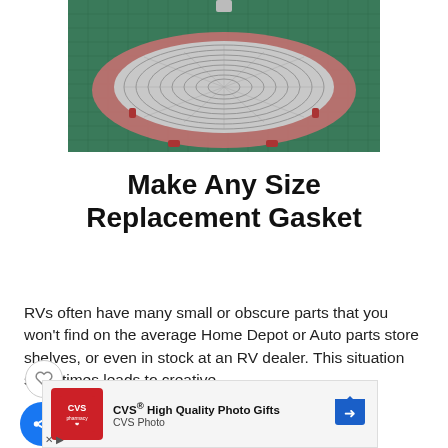[Figure (photo): A circular gasket component with a pink/red foam ring and clear/glass mesh center, sitting on a green cutting mat grid surface.]
Make Any Size Replacement Gasket
RVs often have many small or obscure parts that you won't find on the average Home Depot or Auto parts store shelves, or even in stock at an RV dealer. This situation sometimes leads to creative s... ly when RV... that th...